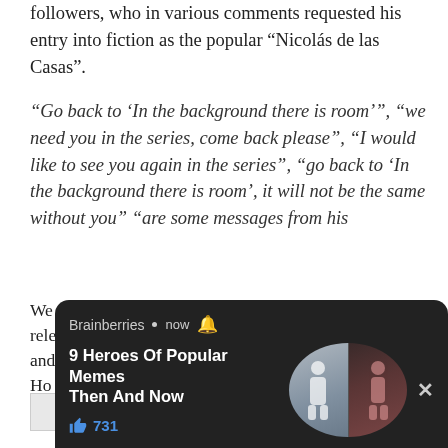followers, who in various comments requested his entry into fiction as the popular “Nicolás de las Casas”.
“Go back to ‘In the background there is room’”, “we need you in the series, come back please”, “I would like to see you again in the series”, “go back to ‘In the background there is room’, it will not be the same without you” are some messages from his
We use cookies on our website to give you the most relevant experience by remembering your preferences and repeat visits. By clicking “Accept All”, Ho pr
[Figure (screenshot): Browser push notification popup from Brainberries showing '9 Heroes Of Popular Memes Then And Now' with 731 likes and two circular portrait images, with a close (X) button.]